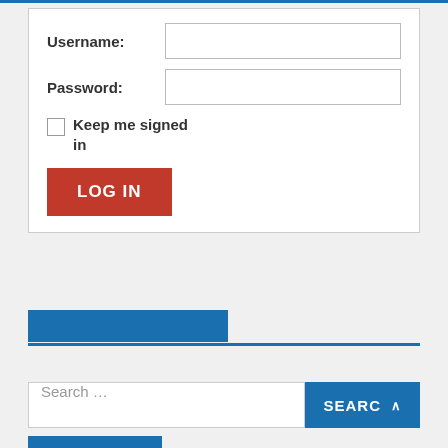[Figure (screenshot): Login form with Username and Password fields, Keep me signed in checkbox, and LOG IN button]
[Figure (screenshot): Navigation tab bar with active blue tab and blue underline]
[Figure (screenshot): Search input field with SEARC button and caret]
[Figure (screenshot): COMMENTS button in blue]